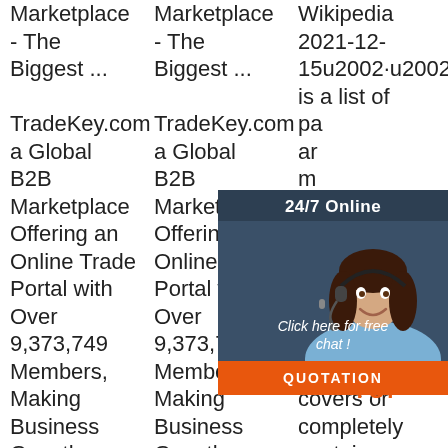Marketplace - The Biggest ... TradeKey.com a Global B2B Marketplace Offering an Online Trade Portal with Over 9,373,749 Members, Making Business Growth Easier for Manufacturers and Suppliers,
Marketplace - The Biggest ... TradeKey.com a Global B2B Marketplace Offering an Online Trade Portal with Over 9,373,749 Members, Making Business Growth Easier for Manufacturers and Suppliers,
Wikipedia 2021-12-15u2002·u2002T is a list of pa ar m st er fa di pi of a pastry casing that covers or completely contains a
[Figure (screenshot): 24/7 Online chat widget overlay showing a customer service agent (woman with headset), text 'Click here for free chat!' and an orange QUOTATION button, on a dark blue background. Also shows a 'TOP' logo in orange at the bottom right.]